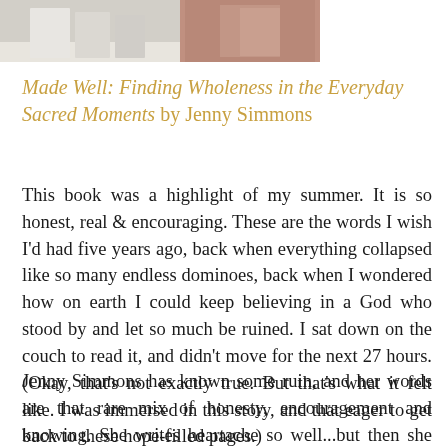[Figure (photo): Partial photo strip at top showing blurred/cropped book and household items in muted tones]
Made Well: Finding Wholeness in the Everyday Sacred Moments by Jenny Simmons
This book was a highlight of my summer. It is so honest, real & encouraging. These are the words I wish I'd had five years ago, back when everything collapsed like so many endless dominoes, back when I wondered how on earth I could keep believing in a God who stood by and let so much be ruined. I sat down on the couch to read it, and didn't move for the next 27 hours. (Okay, that's not exactly true. But that's what it felt like. I was immersed in this story, and that eager to get back to these hope-filled pages.)
Jenny Simmons has known some ruin, and her words are that rare mix of honesty, encouragement and knowing. She writes heartache so well...but then she captures the